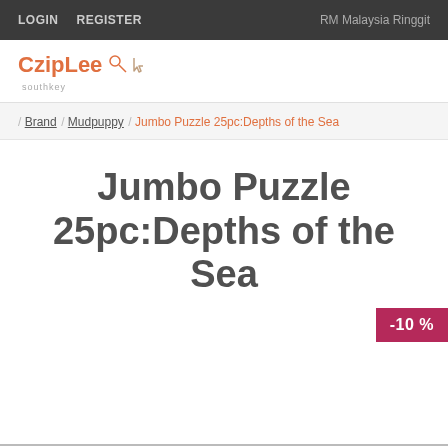LOGIN  REGISTER  RM Malaysia Ringgit
[Figure (logo): CzipLee Southkey logo with orange text and cursor icon]
/ Brand / Mudpuppy / Jumbo Puzzle 25pc:Depths of the Sea
Jumbo Puzzle 25pc:Depths of the Sea
-10 %
1  ADD TO CART